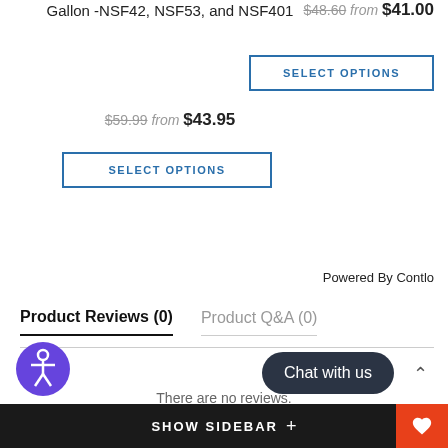Gallon -NSF42, NSF53, and NSF401
$59.99 from $43.95
SELECT OPTIONS
$48.60 from $41.00
SELECT OPTIONS
Powered By Contlo
Product Reviews (0)
Product Q&A (0)
There are no reviews.
Be the first to review this item
Write Review
SHOW SIDEBAR +